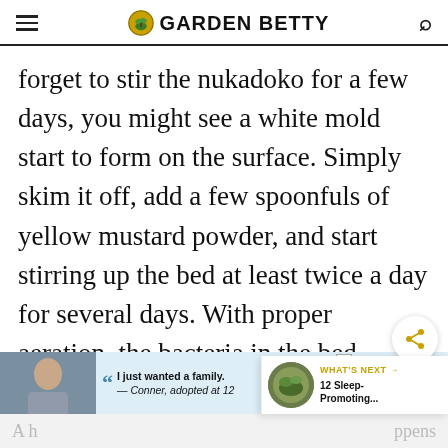GARDEN BETTY
forget to stir the nukadoko for a few days, you might see a white mold start to form on the surface. Simply skim it off, add a few spoonfuls of yellow mustard powder, and start stirring up the bed at least twice a day for several days. With proper aeration, the bacteria in the bed should regain their balance. If mold is forming below surface, throw out the nuka and start a fresh batch.
[Figure (other): Share icon bubble]
[Figure (other): What's Next thumbnail showing 12 Sleep-Promoting...]
[Figure (other): Advertisement banner: I just wanted a family. — Conner, adopted at 12. Dave Thomas Foundation for Adoption.]
A h ... ppens